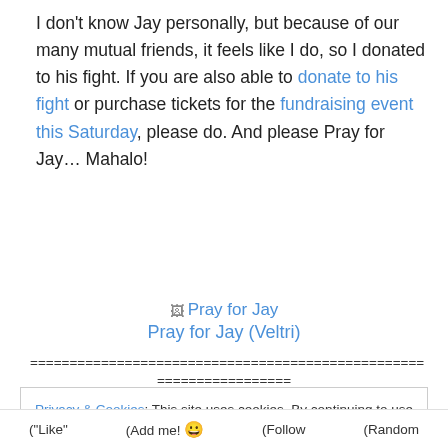I don't know Jay personally, but because of our many mutual friends, it feels like I do, so I donated to his fight. If you are also able to donate to his fight or purchase tickets for the fundraising event this Saturday, please do. And please Pray for Jay… Mahalo!
[Figure (photo): Broken image placeholder with caption 'Pray for Jay (Veltri)']
================================================== ==================
Privacy & Cookies: This site uses cookies. By continuing to use this website, you agree to their use. To find out more, including how to control cookies, see here: Cookie Policy
Close and accept
("Like"  (Add me! 😀  (Follow  (Random